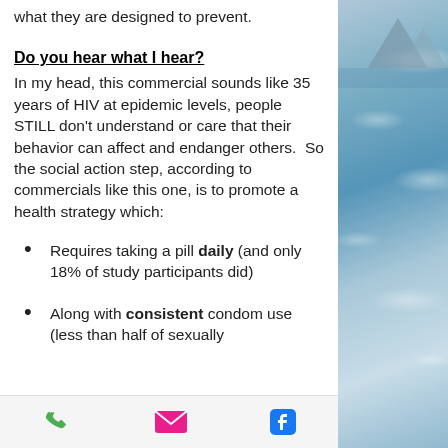what they are designed to prevent.
Do you hear what I hear?
In my head, this commercial sounds like 35 years of HIV at epidemic levels, people STILL don't understand or care that their behavior can affect and endanger others.  So the social action step, according to commercials like this one, is to promote a health strategy which:
Requires taking a pill daily (and only 18% of study participants did)
Along with consistent condom use (less than half of sexually
[Figure (photo): Photo of water/lake with mountains in background, blue-grey tones]
Phone | Email | Facebook icons